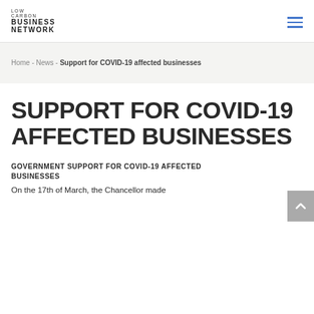LOW CARBON BUSINESS NETWORK
Home - News - Support for COVID-19 affected businesses
SUPPORT FOR COVID-19 AFFECTED BUSINESSES
GOVERNMENT SUPPORT FOR COVID-19 AFFECTED BUSINESSES
On the 17th of March, the Chancellor made